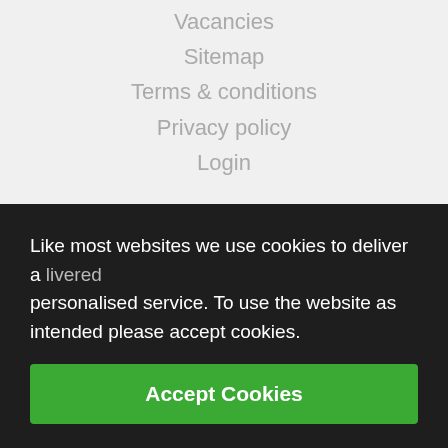Vacancies
Sitemap
Terms & conditions
Privacy policy
Login
Subscribe for the latest news
Sign up for the latest East London Mosque news. Receive important
Like most websites we use cookies to deliver a personalised service. To use the website as intended please accept cookies.
First Name
Accept Cookies
Last Name